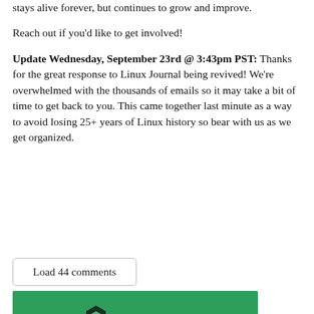stays alive forever, but continues to grow and improve.
Reach out if you'd like to get involved!
Update Wednesday, September 23rd @ 3:43pm PST: Thanks for the great response to Linux Journal being revived! We're overwhelmed with the thousands of emails so it may take a bit of time to get back to you. This came together last minute as a way to avoid losing 25+ years of Linux history so bear with us as we get organized.
Load 44 comments
[Figure (logo): Linode advertisement banner with green background showing Linode logo and name]